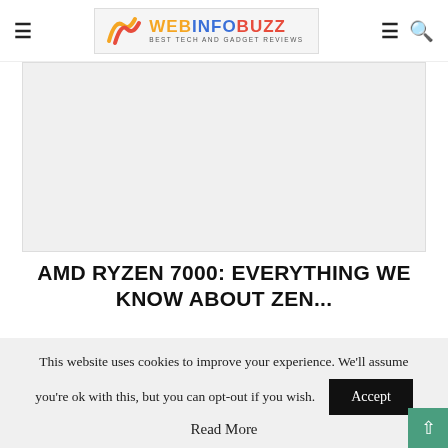WebInfoBuzz — Best Tech and Gadget Reviews
[Figure (photo): Gray placeholder image area for article featured image]
AMD RYZEN 7000: EVERYTHING WE KNOW ABOUT ZEN...
August 30, 2022
[Figure (photo): Second gray placeholder content area]
This website uses cookies to improve your experience. We'll assume you're ok with this, but you can opt-out if you wish.
Accept
Read More